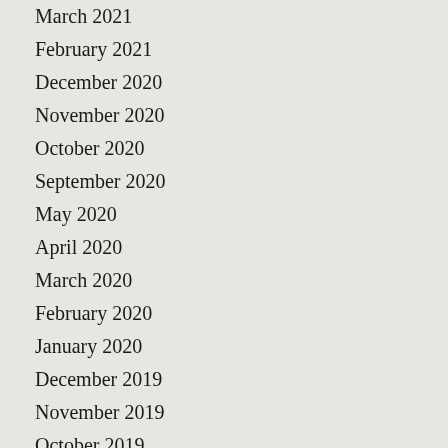March 2021
February 2021
December 2020
November 2020
October 2020
September 2020
May 2020
April 2020
March 2020
February 2020
January 2020
December 2019
November 2019
October 2019
September 2019
August 2019
July 2019
June 2019
May 2019
April 2019
March 2019
February 2019